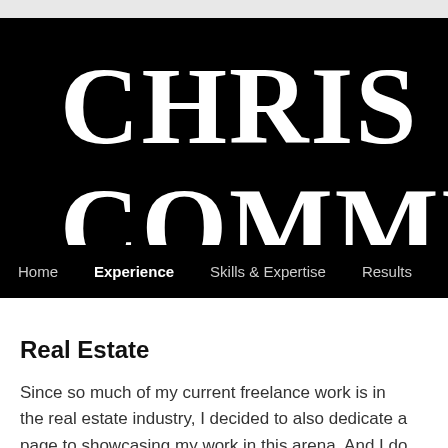[Figure (screenshot): Black header banner with large white serif text reading 'CHRIS COMMU' (partially cropped), with a navigation bar below containing links: Home, Experience, Skills & Expertise, Results, Portfolio, Co...]
Real Estate
Since so much of my current freelance work is in the real estate industry, I decided to also dedicate a page to showcasing my work in this arena. And I do have a long history of working with clients